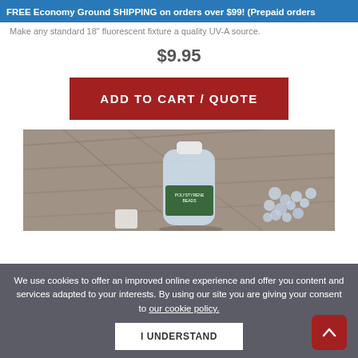FREE Economy Ground SHIPPING on orders over $99! (Prepaid orders
Make any standard 18" fluorescent fixture a quality UV-A source.
$9.95
ADD TO CART / QUOTE
[Figure (photo): Product photo showing a plastic bottle labeled 'Polystyrene Beads' along with loose plastic beads/pellets on a textured gray-brown surface.]
We use cookies to offer an improved online experience and offer you content and services adapted to your interests. By using our site you are giving your consent to our cookie policy.
I UNDERSTAND